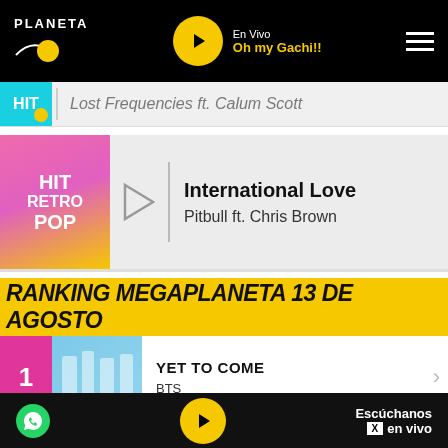PLANETA — En Vivo — Oh my Gachi!!
Lost Frequencies ft. Calum Scott
[Figure (screenshot): HIT RETRO POP station card with play button, showing International Love by Pitbull ft. Chris Brown]
International Love
Pitbull ft. Chris Brown
RANKING MEGAPLANETA 13 DE AGOSTO
1. YET TO COME — BTS
2. ABOUT DAMN TIME — Lizzo
3. SWEETEST PIE
Escúchanos en vivo